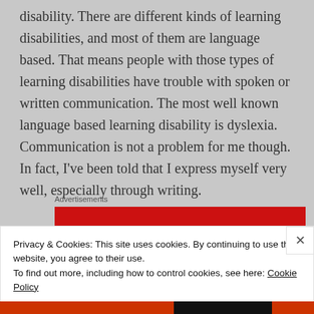disability. There are different kinds of learning disabilities, and most of them are language based. That means people with those types of learning disabilities have trouble with spoken or written communication. The most well known language based learning disability is dyslexia. Communication is not a problem for me though. In fact, I've been told that I express myself very well, especially through writing.
[Figure (infographic): Red advertisement banner with 'An app by' text in bold white, with a partial orange circular element on the left side]
Advertisements
Privacy & Cookies: This site uses cookies. By continuing to use this website, you agree to their use.
To find out more, including how to control cookies, see here: Cookie Policy
Close and accept